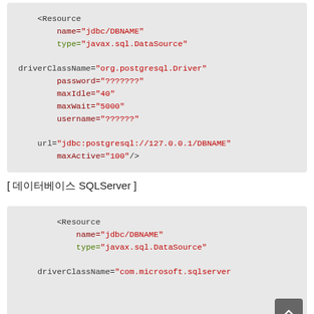<Resource
    name="jdbc/DBNAME"
    type="javax.sql.DataSource"

driverClassName="org.postgresql.Driver"
        password="???????"
        maxIdle="40"
        maxWait="5000"
        username="??????"

url="jdbc:postgresql://127.0.0.1/DBNAME"
        maxActive="100"/>
[ 데이터베이스 SQLServer ]
<Resource
    name="jdbc/DBNAME"
    type="javax.sql.DataSource"

driverClassName="com.microsoft.sqlserver...